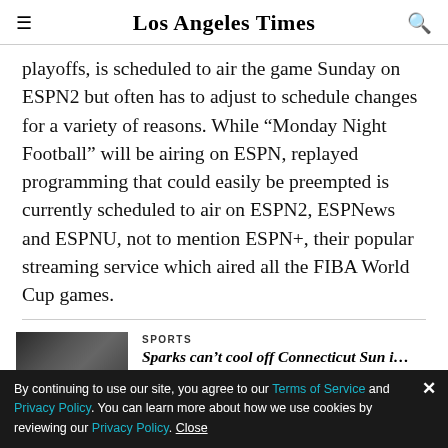Los Angeles Times
playoffs, is scheduled to air the game Sunday on ESPN2 but often has to adjust to schedule changes for a variety of reasons. While “Monday Night Football” will be airing on ESPN, replayed programming that could easily be preempted is currently scheduled to air on ESPN2, ESPNews and ESPNU, not to mention ESPN+, their popular streaming service which aired all the FIBA World Cup games.
[Figure (photo): Sports news thumbnail photo showing basketball game crowd]
SPORTS
Sparks can’t cool off Connecticut Sun in…
By continuing to use our site, you agree to our Terms of Service and Privacy Policy. You can learn more about how we use cookies by reviewing our Privacy Policy. Close